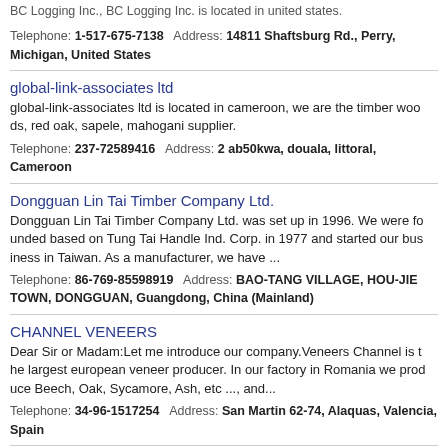BC Logging Inc., BC Logging Inc. is located in united states.
Telephone: 1-517-675-7138  Address: 14811 Shaftsburg Rd., Perry, Michigan, United States
global-link-associates ltd
global-link-associates ltd is located in cameroon, we are the timber woods, red oak, sapele, mahogani supplier.
Telephone: 237-72589416  Address: 2 ab50kwa, douala, littoral, Cameroon
Dongguan Lin Tai Timber Company Ltd.
Dongguan Lin Tai Timber Company Ltd. was set up in 1996. We were founded based on Tung Tai Handle Ind. Corp. in 1977 and started our business in Taiwan. As a manufacturer, we have ...
Telephone: 86-769-85598919  Address: BAO-TANG VILLAGE, HOU-JIE TOWN, DONGGUAN, Guangdong, China (Mainland)
CHANNEL VENEERS
Dear Sir or Madam:Let me introduce our company.Veneers Channel is the largest european veneer producer. In our factory in Romania we produce Beech, Oak, Sycamore, Ash, etc ..., and...
Telephone: 34-96-1517254  Address: San Martin 62-74, Alaquas, Valencia, Spain
Saigondongduong Wood Co., Ltd
Dear Sir! Sai gon Dong duong Wood Co., ltd we specialize in production